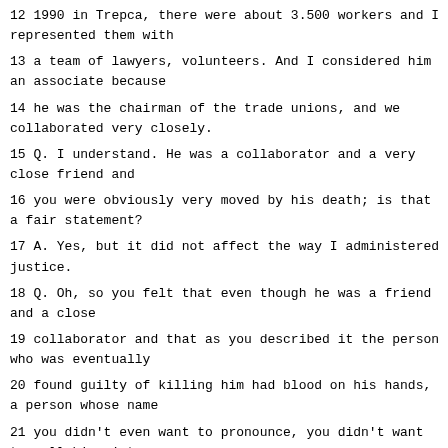12 1990 in Trepca, there were about 3.500 workers and I represented them with
13 a team of lawyers, volunteers. And I considered him an associate because
14 he was the chairman of the trade unions, and we collaborated very closely.
15 Q. I understand. He was a collaborator and a very close friend and
16 you were obviously very moved by his death; is that a fair statement?
17 A. Yes, but it did not affect the way I administered justice.
18 Q. Oh, so you felt that even though he was a friend and a close
19 collaborator and that as you described it the person who was eventually
20 found guilty of killing him had blood on his hands, a person whose name
21 you didn't even want to pronounce, you didn't want to call him mister,
22 under those circumstances you say you could be fair